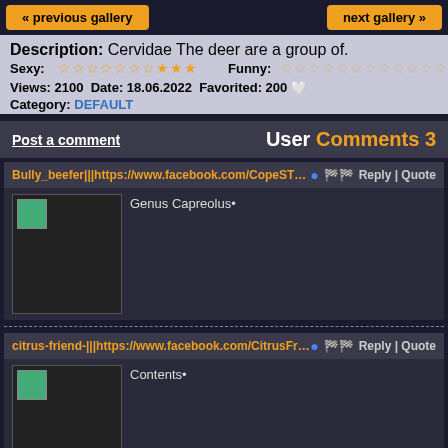« previous gallery    next gallery »
Description: Cervidae The deer are a group of.
Sexy: ★★★★★★★★★★ (stars)   Funny: ☆☆☆☆☆☆☆☆☆☆☆☆
Views: 2100  Date: 18.06.2022  Favorited: 200 🧡
Category: DEFAULT
Post a comment    User Comments 3
Bully_beefer|||https://www.facebook.com/CopeSTCollective/posts|||https://twitte
Reply | Quote
Genus Capreolus•
citrus-friend-|||https://www.facebook.com/CitrusFriend/|||https://twitter.com/mu
Reply | Quote
Contents•